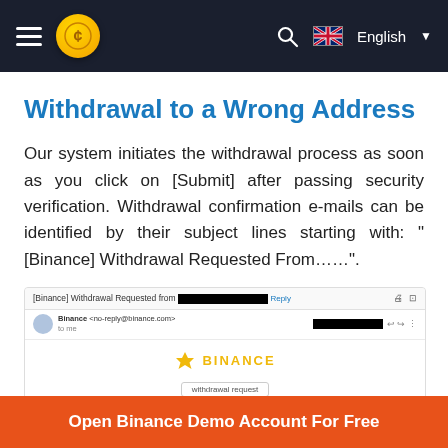Navigation bar with hamburger menu, coin icon, search, and English language selector
Withdrawal to a Wrong Address
Our system initiates the withdrawal process as soon as you click on [Submit] after passing security verification. Withdrawal confirmation e-mails can be identified by their subject lines starting with: “[Binance] Withdrawal Requested From……”.
[Figure (screenshot): Screenshot of a Binance withdrawal confirmation email with redacted subject and sender info, showing the Binance logo and 'withdrawal request' label]
Open Binance Demo Account For Free